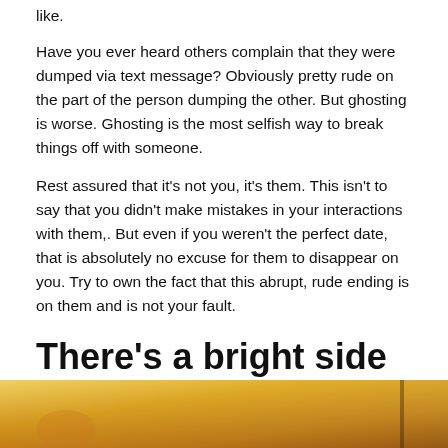like.
Have you ever heard others complain that they were dumped via text message? Obviously pretty rude on the part of the person dumping the other. But ghosting is worse. Ghosting is the most selfish way to break things off with someone.
Rest assured that it's not you, it's them. This isn't to say that you didn't make mistakes in your interactions with them,. But even if you weren't the perfect date, that is absolutely no excuse for them to disappear on you. Try to own the fact that this abrupt, rude ending is on them and is not your fault.
There's a bright side to the pain
[Figure (photo): A warm-toned photograph partially visible at the bottom of the page, showing a blurred person in golden/amber lighting]